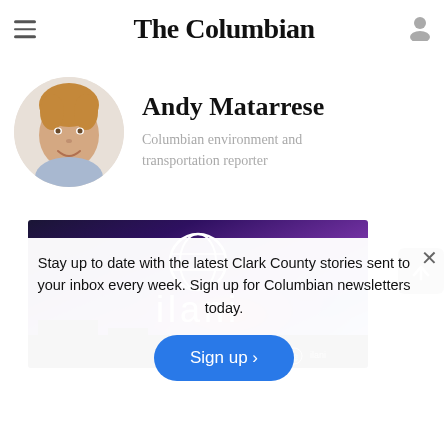The Columbian
Andy Matarrese
Columbian environment and transportation reporter
[Figure (photo): Headshot of Andy Matarrese, a young man with blond hair, smiling, in a circular crop]
[Figure (photo): ilani casino advertisement banner with purple and blue sunset sky background and ilani logo]
Stay up to date with the latest Clark County stories sent to your inbox every week. Sign up for Columbian newsletters today.